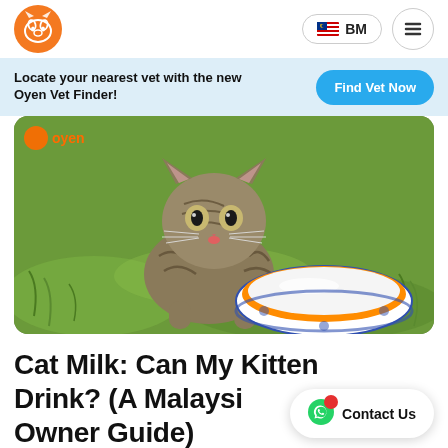Oyen pet insurance website navbar with logo, BM language toggle, and hamburger menu
Locate your nearest vet with the new Oyen Vet Finder!
Find Vet Now
[Figure (photo): A tabby kitten drinking from an orange and white bowl filled with milk, sitting on green grass. Oyen watermark in top left.]
Cat Milk: Can My Kitten Drink? (A Malaysian Owner Guide)
Contact Us